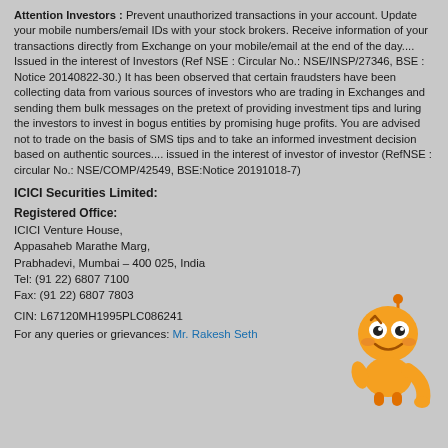Attention Investors : Prevent unauthorized transactions in your account. Update your mobile numbers/email IDs with your stock brokers. Receive information of your transactions directly from Exchange on your mobile/email at the end of the day.... Issued in the interest of Investors (Ref NSE : Circular No.: NSE/INSP/27346, BSE : Notice 20140822-30.) It has been observed that certain fraudsters have been collecting data from various sources of investors who are trading in Exchanges and sending them bulk messages on the pretext of providing investment tips and luring the investors to invest in bogus entities by promising huge profits. You are advised not to trade on the basis of SMS tips and to take an informed investment decision based on authentic sources.... issued in the interest of investor of investor (RefNSE : circular No.: NSE/COMP/42549, BSE:Notice 20191018-7)
ICICI Securities Limited:
Registered Office:
ICICI Venture House,
Appasaheb Marathe Marg,
Prabhadevi, Mumbai - 400 025, India
Tel: (91 22) 6807 7100
Fax: (91 22) 6807 7803
CIN: L67120MH1995PLC086241
[Figure (illustration): Orange cartoon robot/mascot character with antenna, large eyes and a smiling face, pointing finger gesture]
For any queries or grievances: Mr. Rakesh Seth